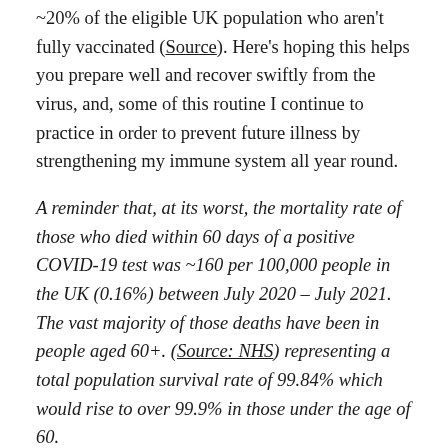~20% of the eligible UK population who aren't fully vaccinated (Source). Here's hoping this helps you prepare well and recover swiftly from the virus, and, some of this routine I continue to practice in order to prevent future illness by strengthening my immune system all year round.
A reminder that, at its worst, the mortality rate of those who died within 60 days of a positive COVID-19 test was ~160 per 100,000 people in the UK (0.16%) between July 2020 – July 2021. The vast majority of those deaths have been in people aged 60+. (Source: NHS) representing a total population survival rate of 99.84% which would rise to over 99.9% in those under the age of 60.